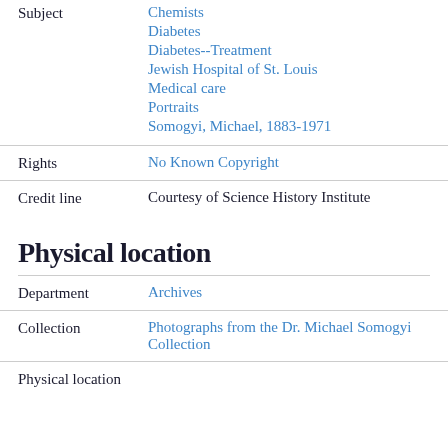Subject: Chemists | Diabetes | Diabetes--Treatment | Jewish Hospital of St. Louis | Medical care | Portraits | Somogyi, Michael, 1883-1971
Rights: No Known Copyright
Credit line: Courtesy of Science History Institute
Physical location
Department: Archives
Collection: Photographs from the Dr. Michael Somogyi Collection
Physical location: ...